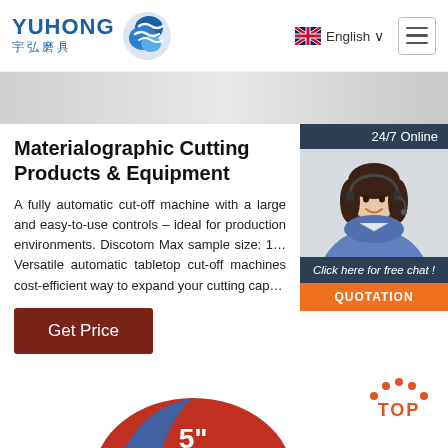YUHONG 宇弘磨具 | English
[Figure (photo): Banner strip showing a light grey industrial background]
Materialographic Cutting Products & Equipment
A fully automatic cut-off machine with a large and easy-to-use controls – ideal for production environments. Discotom Max sample size: 1… Versatile automatic tabletop cut-off machines cost-efficient way to expand your cutting cap…
[Figure (photo): 24/7 Online chat widget with customer service representative photo, click here for free chat, QUOTATION button]
Get Price
[Figure (photo): TOP navigation button with dotted arc above text]
[Figure (photo): Partial circular abrasive cutting disc showing 5 inch marking in white text on red and blue disc]